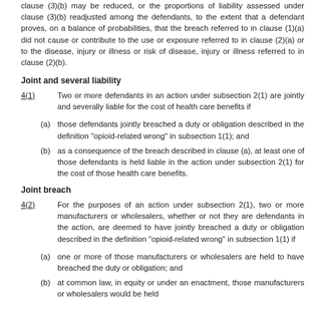clause (3)(b) may be reduced, or the proportions of liability assessed under clause (3)(b) readjusted among the defendants, to the extent that a defendant proves, on a balance of probabilities, that the breach referred to in clause (1)(a) did not cause or contribute to the use or exposure referred to in clause (2)(a) or to the disease, injury or illness or risk of disease, injury or illness referred to in clause (2)(b).
Joint and several liability
4(1)      Two or more defendants in an action under subsection 2(1) are jointly and severally liable for the cost of health care benefits if
(a)  those defendants jointly breached a duty or obligation described in the definition "opioid-related wrong" in subsection 1(1); and
(b)  as a consequence of the breach described in clause (a), at least one of those defendants is held liable in the action under subsection 2(1) for the cost of those health care benefits.
Joint breach
4(2)      For the purposes of an action under subsection 2(1), two or more manufacturers or wholesalers, whether or not they are defendants in the action, are deemed to have jointly breached a duty or obligation described in the definition "opioid-related wrong" in subsection 1(1) if
(a)  one or more of those manufacturers or wholesalers are held to have breached the duty or obligation; and
(b)  at common law, in equity or under an enactment, those manufacturers or wholesalers would be held